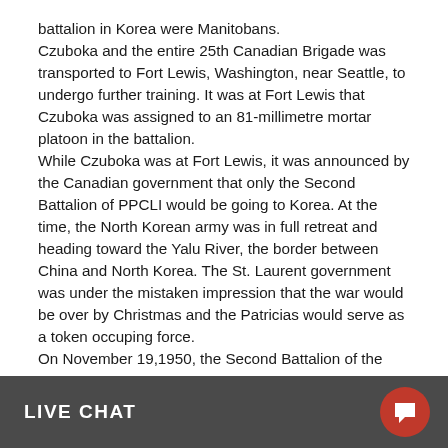battalion in Korea were Manitobans. Czuboka and the entire 25th Canadian Brigade was transported to Fort Lewis, Washington, near Seattle, to undergo further training. It was at Fort Lewis that Czuboka was assigned to an 81-millimetre mortar platoon in the battalion. While Czuboka was at Fort Lewis, it was announced by the Canadian government that only the Second Battalion of PPCLI would be going to Korea. At the time, the North Korean army was in full retreat and heading toward the Yalu River, the border between China and North Korea. The St. Laurent government was under the mistaken impression that the war would be over by Christmas and the Patricias would serve as a token occuping force. On November 19,1950, the Second Battalion of the Princess Patricia's Canadian Light Infantry embarked on troop trains and departed for the Pacific coast. On November 25, they boarded the Pvt. Joe P. Martinez, a United States Army transport ship, a holdover “Liberty” ship from the Second World War, which Czuboka described as not appearing to be very seaworthy. They arri[...] disemba[...]
LIVE CHAT